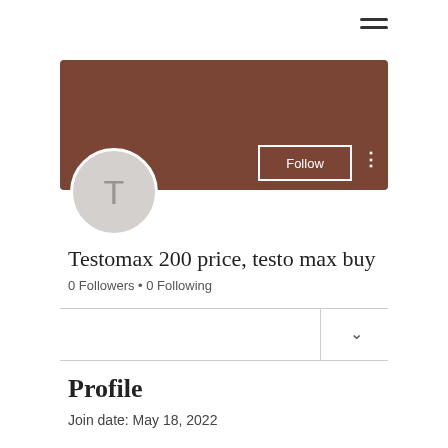[Figure (other): Hamburger menu icon (three horizontal lines)]
[Figure (other): Brown cover banner background for user profile]
[Figure (other): Circular avatar with letter T on grey background]
Follow
Testomax 200 price, testo max buy
0 Followers • 0 Following
Profile
Join date: May 18, 2022